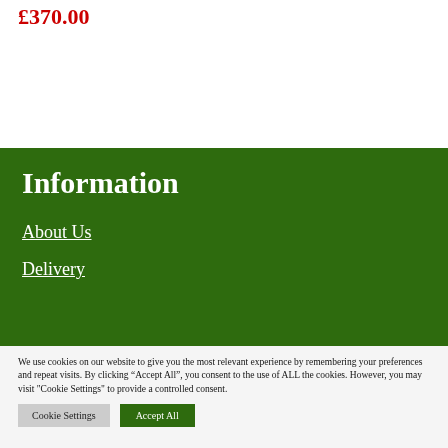£370.00
Information
About Us
Delivery
We use cookies on our website to give you the most relevant experience by remembering your preferences and repeat visits. By clicking “Accept All”, you consent to the use of ALL the cookies. However, you may visit "Cookie Settings" to provide a controlled consent.